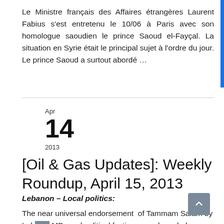Le Ministre français des Affaires étrangères Laurent Fabius s'est entretenu le 10/06 à Paris avec son homologue saoudien le prince Saoud el-Fayçal. La situation en Syrie était le principal sujet à l'ordre du jour. Le prince Saoud a surtout abordé …
Apr
14
2013
[Oil & Gas Updates]: Weekly Roundup, April 15, 2013
Lebanon – Local politics:
The near universal endorsement of Tammam Salam by Lebanese MPs and political factions may have led some to consider that the